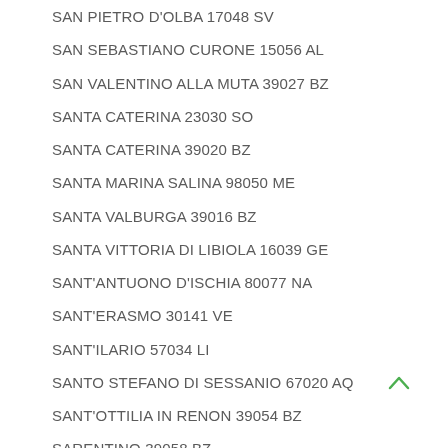SAN PIETRO D'OLBA 17048 SV
SAN SEBASTIANO CURONE 15056 AL
SAN VALENTINO ALLA MUTA 39027 BZ
SANTA CATERINA 23030 SO
SANTA CATERINA 39020 BZ
SANTA MARINA SALINA 98050 ME
SANTA VALBURGA 39016 BZ
SANTA VITTORIA DI LIBIOLA 16039 GE
SANT'ANTUONO D'ISCHIA 80077 NA
SANT'ERASMO 30141 VE
SANT'ILARIO 57034 LI
SANTO STEFANO DI SESSANIO 67020 AQ
SANT'OTTILIA IN RENON 39054 BZ
SARENTINO 39058 BZ